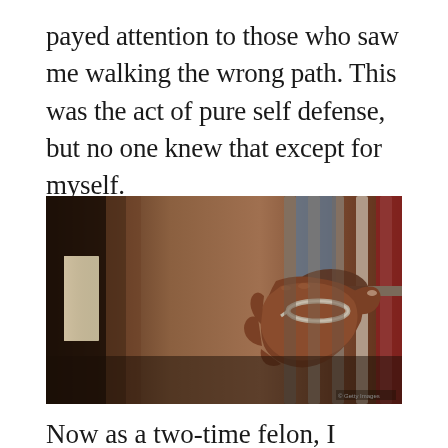payed attention to those who saw me walking the wrong path. This was the act of pure self defense, but no one knew that except for myself.
[Figure (photo): A photograph of a handcuffed hand reaching through prison bars in what appears to be a jail corridor. The hand is dark-skinned and wearing metal handcuffs, gripping the bars. The background shows a dimly lit corridor with wooden and metal elements.]
Now as a two-time felon, I really had my